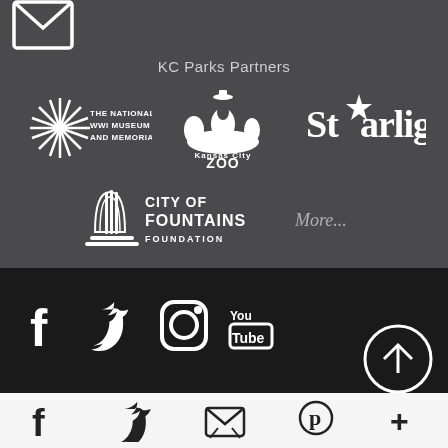[Figure (logo): Email envelope icon at top left]
KC Parks Partners
[Figure (logo): The National WWI Museum and Memorial logo]
[Figure (logo): Kansas City Zoo logo]
[Figure (logo): Starlight logo]
[Figure (logo): City of Fountains Foundation logo]
More...
[Figure (logo): Social media icons: Facebook, Twitter, Instagram, YouTube]
[Figure (illustration): Scroll to top button with upward arrow]
[Figure (logo): Bottom bar icons: Facebook, Twitter, Email/Share, Pinterest, More(+)]